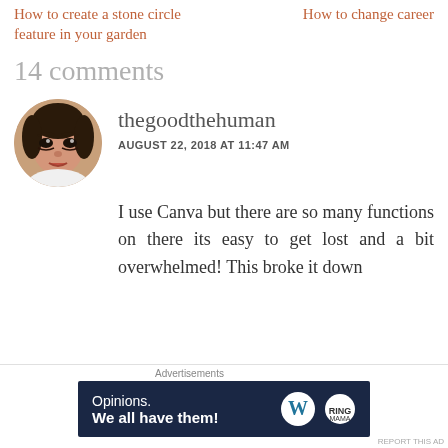How to create a stone circle feature in your garden
How to change career
14 comments
[Figure (photo): Circular avatar photo of a woman with dark hair and makeup, wearing a white top]
thegoodthehuman
AUGUST 22, 2018 AT 11:47 AM
I use Canva but there are so many functions on there its easy to get lost and a bit overwhelmed! This broke it down
Advertisements
[Figure (screenshot): Advertisement banner: dark navy background with 'Opinions. We all have them!' text and WordPress logo]